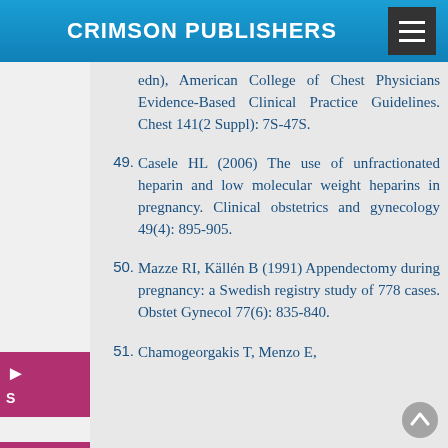CRIMSON PUBLISHERS
edn), American College of Chest Physicians Evidence-Based Clinical Practice Guidelines. Chest 141(2 Suppl): 7S-47S.
49. Casele HL (2006) The use of unfractionated heparin and low molecular weight heparins in pregnancy. Clinical obstetrics and gynecology 49(4): 895-905.
50. Mazze RI, Källén B (1991) Appendectomy during pregnancy: a Swedish registry study of 778 cases. Obstet Gynecol 77(6): 835-840.
51. Chamogeorgakis T, Menzo E,